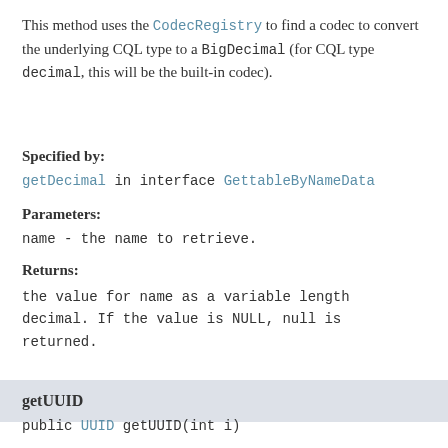This method uses the CodecRegistry to find a codec to convert the underlying CQL type to a BigDecimal (for CQL type decimal, this will be the built-in codec).
Specified by:
getDecimal in interface GettableByNameData
Parameters:
name - the name to retrieve.
Returns:
the value for name as a variable length decimal. If the value is NULL, null is returned.
getUUID
public UUID getUUID(int i)
Returns the ith value as a UUID.
This method uses the CodecRegistry to find a